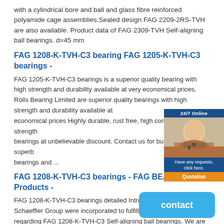with a cylindrical bore and ball and glass fibre reinforced polyamide cage assemblies.Sealed design FAG 2209-2RS-TVH are also available. Product data of FAG 2309-TVH Self-aligning ball bearings. d=45 mm
FAG 1208-K-TVH-C3 bearing FAG 1205-K-TVH-C3 bearings -
FAG 1205-K-TVH-C3 bearings is a superior quality bearing with high strength and durability available at very economical prices. Rolls Bearing Limited are superior quality bearings with high strength and durability available at economical prices Highly durable, rust free, high compressive strength bearings at unbelievable discount. Contact us for bulk order of superb bearings and ...
FAG 1208-K-TVH-C3 bearings - FAG BEARING - Products -
FAG 1208-K-TVH-C3 bearings detailed Introductions□ The Schaeffler Group were incorporated to fulfill all your demands regarding FAG 1208-K-TVH-C3 Self-aligning ball bearings. We are the world's second largest bearing manufacturer and cater to all major segments of industries like mining, construction, automotive, etc.
FAG 1311-K-TVH-C3s bearing-Soar
FAG 1208-K-TVH-C3, 1208-K-TVH-C3 bearing 40x80x18 FAG 1208-K-TVH-C340x80x18-FAG1208-K-TVH-C3bearing,SealsType:Open,Material:ChromeSteel,PrecisionRating:P0fromShand